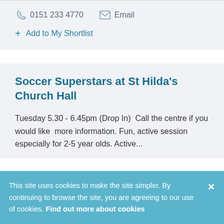0151 233 4770   Email
+ Add to My Shortlist
Soccer Superstars at St Hilda's Church Hall
Tuesday 5.30 - 6.45pm (Drop In)  Call the centre if you would like  more information. Fun, active session especially for 2-5 year olds. Active...
This site uses cookies to make the site simpler. By continuing to browse the site, you are agreeing to our use of cookies. Find out more about cookies